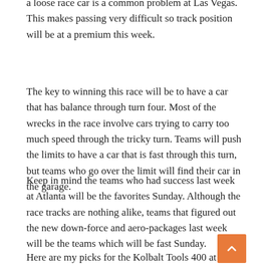a loose race car is a common problem at Las Vegas. This makes passing very difficult so track position will be at a premium this week.
The key to winning this race will be to have a car that has balance through turn four. Most of the wrecks in the race involve cars trying to carry too much speed through the tricky turn. Teams will push the limits to have a car that is fast through this turn, but teams who go over the limit will find their car in the garage.
Keep in mind the teams who had success last week at Atlanta will be the favorites Sunday. Although the race tracks are nothing alike, teams that figured out the new down-force and aero-packages last week will be the teams which will be fast Sunday.
Here are my picks for the Kolbalt Tools 400 at Las Vegas...